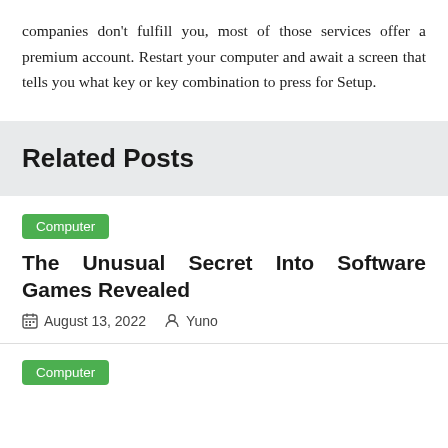companies don't fulfill you, most of those services offer a premium account. Restart your computer and await a screen that tells you what key or key combination to press for Setup.
Related Posts
Computer
The Unusual Secret Into Software Games Revealed
August 13, 2022   Yuno
Computer